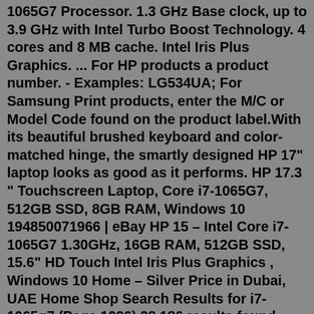1065G7 Processor. 1.3 GHz Base clock, up to 3.9 GHz with Intel Turbo Boost Technology. 4 cores and 8 MB cache. Intel Iris Plus Graphics. ... For HP products a product number. - Examples: LG534UA; For Samsung Print products, enter the M/C or Model Code found on the product label.With its beautiful brushed keyboard and color-matched hinge, the smartly designed HP 17" laptop looks as good as it performs. HP 17.3 " Touchscreen Laptop, Core i7-1065G7, 512GB SSD, 8GB RAM, Windows 10 194850071966 | eBay HP 15 – Intel Core i7-1065G7 1.30GHz, 16GB RAM, 512GB SSD, 15.6″ HD Touch Intel Iris Plus Graphics , Windows 10 Home – Silver Price in Dubai, UAE Home Shop Search Results for i7-1065g7 (Page 1096) 28,186 results found. Search. System Microsoft Corporation Surface Laptop 3 Intel Core i7-1065G7 1498 MHz (4 cores) Uploaded Fri, 15 Nov 2019 22:26:59 +0000. Platform Windows Single-Core Score 1251 Multi-Core Score 4839The HP Envy 13 laptop features an elegant case and dedicated graphics. The screen is bright but also very reflective.